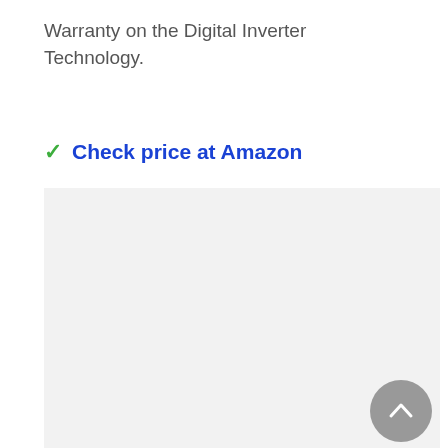Warranty on the Digital Inverter Technology.
Check price at Amazon
[Figure (other): Gray content placeholder box with a right-arrow navigation button and an up-arrow scroll-to-top button]